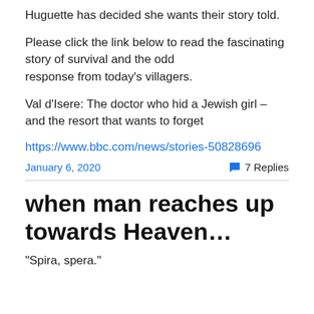Huguette has decided she wants their story told.
Please click the link below to read the fascinating story of survival and the odd response from today's villagers.
Val d'Isere: The doctor who hid a Jewish girl – and the resort that wants to forget
https://www.bbc.com/news/stories-50828696
January 6, 2020
7 Replies
when man reaches up towards Heaven…
“Spira, spera.”